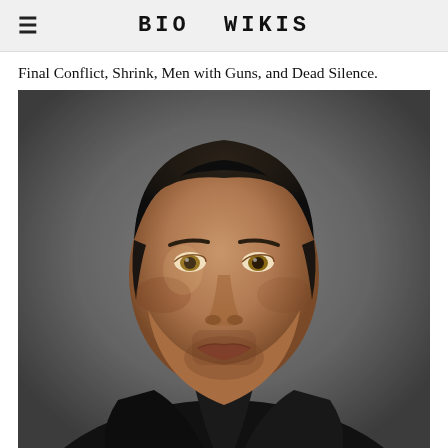BIO WIKIS
Final Conflict, Shrink, Men with Guns, and Dead Silence.
[Figure (photo): Professional headshot of a middle-aged man with dark slicked-back hair, wearing a black shirt/jacket, against a grey gradient background. He has a serious, intense expression.]